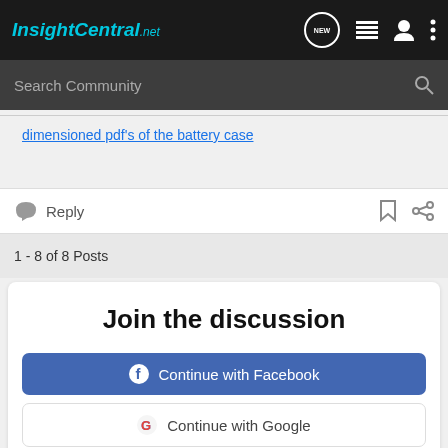InsightCentral.net — navigation bar with logo, NEW button, list icon, user icon, more icon
Search Community
dimensioned pdf's of the battery case
Reply
1 - 8 of 8 Posts
Join the discussion
Continue with Facebook
Continue with Google